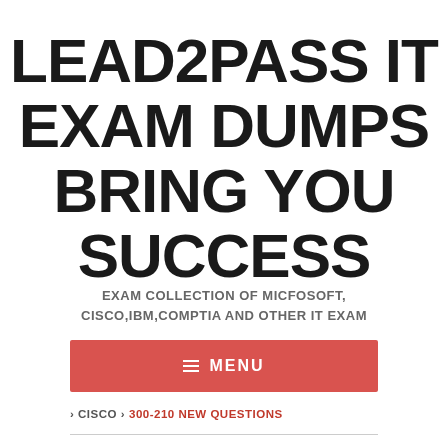LEAD2PASS IT EXAM DUMPS BRING YOU SUCCESS
EXAM COLLECTION OF MICFOSOFT, CISCO,IBM,COMPTIA AND OTHER IT EXAM
≡ MENU
› CISCO › 300-210 NEW QUESTIONS